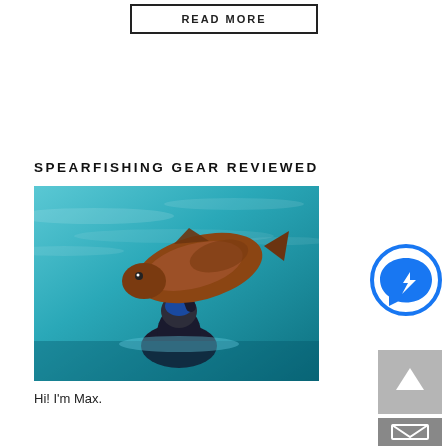READ MORE
SPEARFISHING GEAR REVIEWED
[Figure (photo): A spearfisher in a black wetsuit and mask in turquoise water holding a large brown fish above their head]
Hi! I'm Max.
[Figure (other): Facebook Messenger icon — blue circle with white lightning bolt chat bubble]
[Figure (other): Grey square scroll-to-top button with white chevron arrow pointing up]
[Figure (other): Dark grey square email/envelope button with white envelope icon]